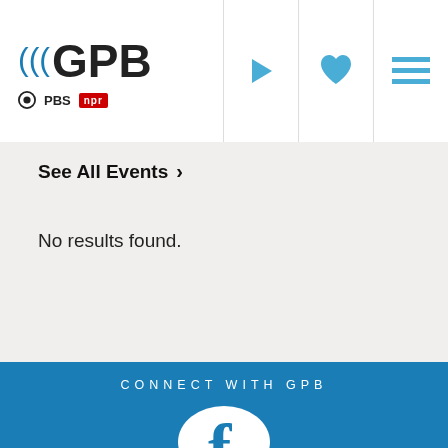[Figure (logo): GPB logo with PBS and NPR badges, plus navigation icons (play, heart, menu)]
See All Events >
No results found.
CONNECT WITH GPB
[Figure (logo): Facebook circular icon (white circle with blue 'f' on blue background)]